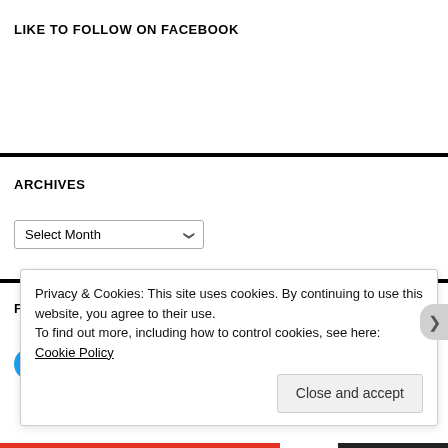LIKE TO FOLLOW ON FACEBOOK
ARCHIVES
[Figure (screenshot): Select Month dropdown widget for archives]
FOLLOW ON TWITTER
[Figure (screenshot): Follow @bottledworder Twitter button in blue]
Privacy & Cookies: This site uses cookies. By continuing to use this website, you agree to their use.
To find out more, including how to control cookies, see here: Cookie Policy
Close and accept